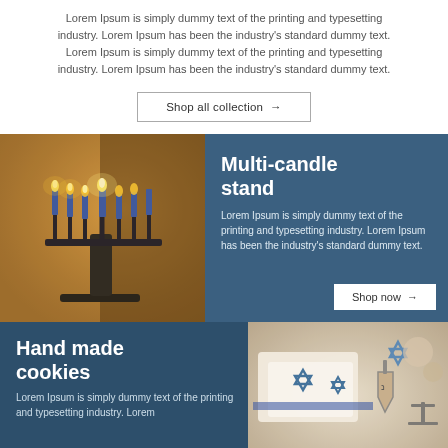Lorem Ipsum is simply dummy text of the printing and typesetting industry. Lorem Ipsum has been the industry's standard dummy text. Lorem Ipsum is simply dummy text of the printing and typesetting industry. Lorem Ipsum has been the industry's standard dummy text.
Shop all collection →
[Figure (photo): Menorah with lit blue candles on a table]
Multi-candle stand
Lorem Ipsum is simply dummy text of the printing and typesetting industry. Lorem Ipsum has been the industry's standard dummy text.
Shop now →
Hand made cookies
Lorem Ipsum is simply dummy text of the printing and typesetting industry. Lorem
[Figure (photo): Hanukkah decorative items: Star of David ornaments and dreidels]